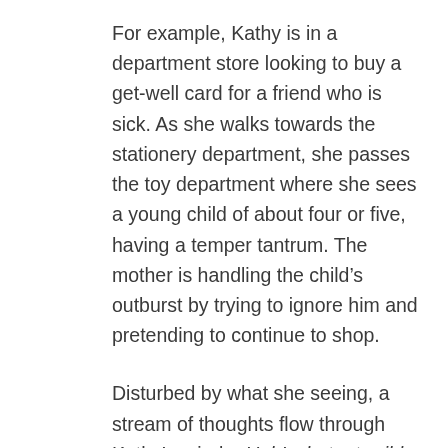For example, Kathy is in a department store looking to buy a get-well card for a friend who is sick. As she walks towards the stationery department, she passes the toy department where she sees a young child of about four or five, having a temper tantrum. The mother is handling the child's outburst by trying to ignore him and pretending to continue to shop.
Disturbed by what she seeing, a stream of thoughts flow through Kathy's mind – Ugh! what a terrible noise! Why can't she do something about it? Look at her, she's pretending there's nothing wrong. Oh look, he's tugging at her jacket but she's not even looking at him. What a terrible mother she